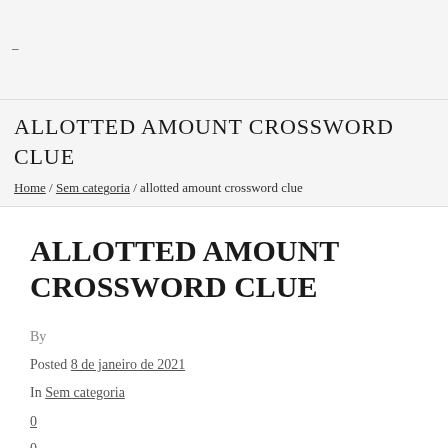–
ALLOTTED AMOUNT CROSSWORD CLUE
Home / Sem categoria / allotted amount crossword clue
ALLOTTED AMOUNT CROSSWORD CLUE
By
Posted 8 de janeiro de 2021
In Sem categoria
0
0